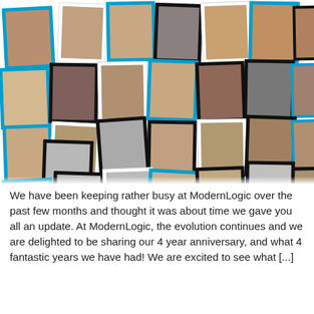[Figure (photo): Collage of approximately 30 portrait photos of people (employees of ModernLogic), arranged in overlapping polaroid-style frames with blue, black, and white borders on a white background. Mix of color and black-and-white photos.]
We have been keeping rather busy at ModernLogic over the past few months and thought it was about time we gave you all an update. At ModernLogic, the evolution continues and we are delighted to be sharing our 4 year anniversary, and what 4 fantastic years we have had! We are excited to see what [...]